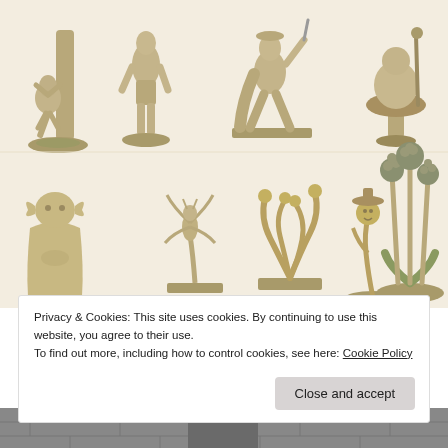[Figure (photo): Collection of 3D printed miniature figurines in two rows. Top row: a creature climbing a tree trunk, a tall humanoid warrior figure, an armored knight/rogue in dynamic pose, and a rotund mushroom creature holding a staff. Bottom row: a Yoda-like meditating figure, a skeletal insect/mantis creature on a base, an octopus-like tendril plant creature, a flower-headed creature on a vine, and tall decorative plant/flower stalks.]
Privacy & Cookies: This site uses cookies. By continuing to use this website, you agree to their use.
To find out more, including how to control cookies, see here: Cookie Policy
[Figure (photo): Partial view of a grey stone or cobblestone surface/structure at the bottom of the page.]